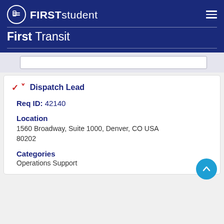FIRST student | First Transit
Dispatch Lead
Req ID: 42140
Location
1560 Broadway, Suite 1000, Denver, CO USA 80202
Categories
Operations Support